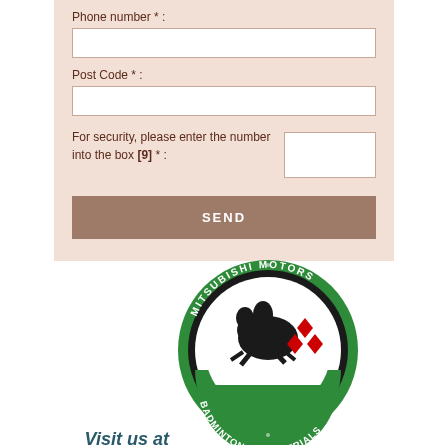Phone number * :
Post Code * :
For security, please enter the number into the box [9] * :
SEND
Visit us at
[Figure (logo): Mitsubishi Motors Badminton Horse Trials circular logo with green ring, black and white horse and rider illustration, red Mitsubishi diamond logo, and text 'BADMINTON HORSE TRIALS']